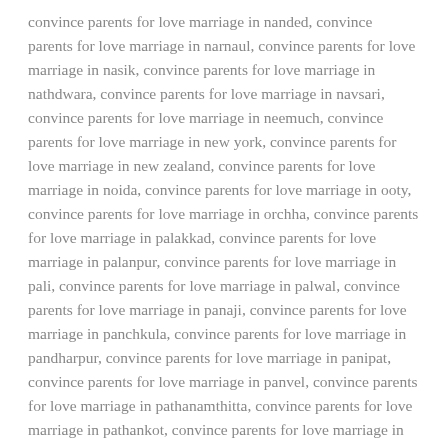convince parents for love marriage in nanded, convince parents for love marriage in narnaul, convince parents for love marriage in nasik, convince parents for love marriage in nathdwara, convince parents for love marriage in navsari, convince parents for love marriage in neemuch, convince parents for love marriage in new york, convince parents for love marriage in new zealand, convince parents for love marriage in noida, convince parents for love marriage in ooty, convince parents for love marriage in orchha, convince parents for love marriage in palakkad, convince parents for love marriage in palanpur, convince parents for love marriage in pali, convince parents for love marriage in palwal, convince parents for love marriage in panaji, convince parents for love marriage in panchkula, convince parents for love marriage in pandharpur, convince parents for love marriage in panipat, convince parents for love marriage in panvel, convince parents for love marriage in pathanamthitta, convince parents for love marriage in pathankot, convince parents for love marriage in patiala, convince parents for love marriage in patna, convince parents for love marriage in patna sahib,